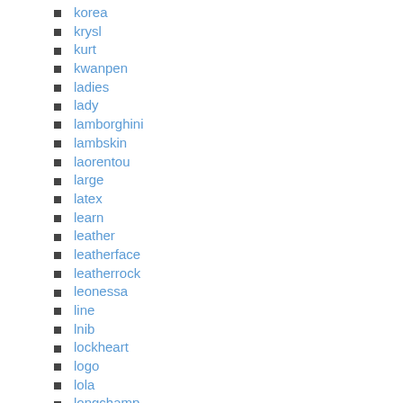korea
krysl
kurt
kwanpen
ladies
lady
lamborghini
lambskin
laorentou
large
latex
learn
leather
leatherface
leatherrock
leonessa
line
lnib
lockheart
logo
lola
longchamp
locks